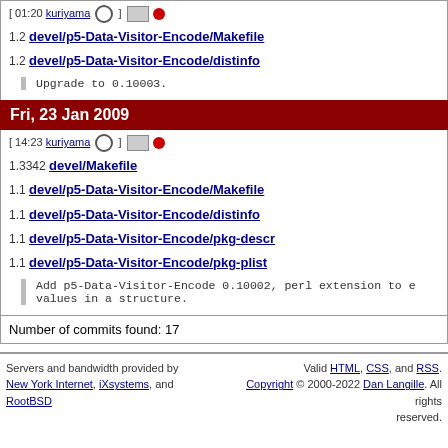[ 01:20 kuriyama ] [id] [dot]
1.2 devel/p5-Data-Visitor-Encode/Makefile
1.2 devel/p5-Data-Visitor-Encode/distinfo
Upgrade to 0.10003.
Fri, 23 Jan 2009
[ 14:23 kuriyama ] [id] [dot]
1.3342 devel/Makefile
1.1 devel/p5-Data-Visitor-Encode/Makefile
1.1 devel/p5-Data-Visitor-Encode/distinfo
1.1 devel/p5-Data-Visitor-Encode/pkg-descr
1.1 devel/p5-Data-Visitor-Encode/pkg-plist
Add p5-Data-Visitor-Encode 0.10002, perl extension to encode/decode values in a structure.
Number of commits found: 17
Servers and bandwidth provided by New York Internet, iXsystems, and RootBSD. Valid HTML, CSS, and RSS. Copyright © 2000-2022 Dan Langille. All rights reserved.